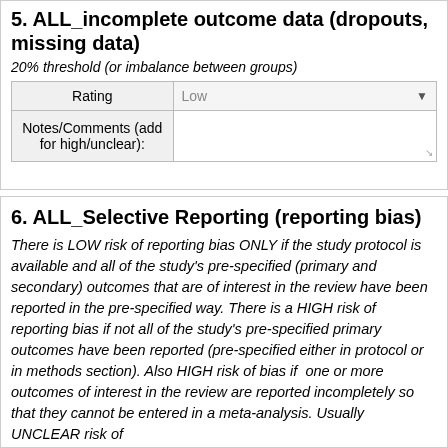5. ALL_incomplete outcome data (dropouts, missing data)
20% threshold (or imbalance between groups)
| Rating | Low |
| --- | --- |
| Notes/Comments (add for high/unclear): |  |
6. ALL_Selective Reporting (reporting bias)
There is LOW risk of reporting bias ONLY if the study protocol is available and all of the study's pre-specified (primary and secondary) outcomes that are of interest in the review have been reported in the pre-specified way. There is a HIGH risk of reporting bias if not all of the study's pre-specified primary outcomes have been reported (pre-specified either in protocol or in methods section). Also HIGH risk of bias if  one or more outcomes of interest in the review are reported incompletely so that they cannot be entered in a meta-analysis. Usually UNCLEAR risk of